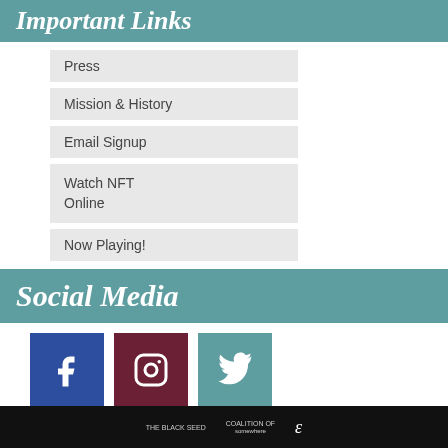Important Links
Press
Mission & History
Email Signup
Watch NFT Online
Now Playing!
Social Media
[Figure (infographic): Three social media icon buttons: Facebook (blue), Instagram (dark red), Twitter (teal)]
Footer bar with logos